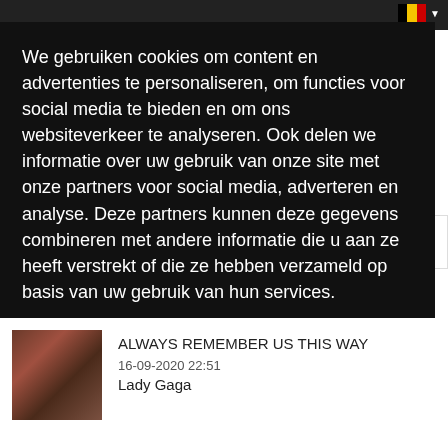[Figure (screenshot): Website top navigation bar with dark background and Belgian flag dropdown in upper right]
We gebruiken cookies om content en advertenties te personaliseren, om functies voor social media te bieden en om ons websiteverkeer te analyseren. Ook delen we informatie over uw gebruik van onze site met onze partners voor social media, adverteren en analyse. Deze partners kunnen deze gegevens combineren met andere informatie die u aan ze heeft verstrekt of die ze hebben verzameld op basis van uw gebruik van hun services.
Details weergeven
Accepteer Cookies!
ALWAYS REMEMBER US THIS WAY
16-09-2020 22:51
Lady Gaga